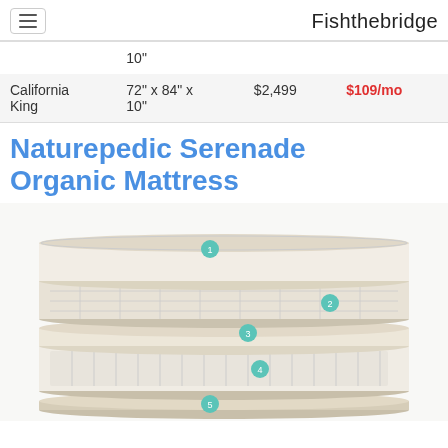Fishthebridge
|  | 10" |  |  |
| California King | 72" x 84" x 10" | $2,499 | $109/mo |
Naturepedic Serenade Organic Mattress
[Figure (illustration): Cross-section diagram of a mattress showing 5 numbered layers stacked on top of each other, with teal numbered circles (1-5) labeling each layer.]